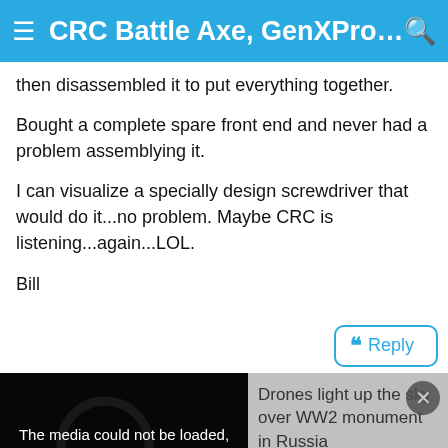CRC Battle Axe, GenXPro 10, 1/...
then disassembled it to put everything together.
Bought a complete spare front end and never had a problem assemblying it.
I can visualize a specially design screwdriver that would do it...no problem. Maybe CRC is listening...again...LOL.
Bill
[Figure (screenshot): Reply button with quote icon, blue border, text 'Reply']
[Figure (screenshot): Video player area showing media error overlay: 'The media could not be loaded, either because the server or network failed or because the format is not supported.' Sidebar shows text 'Drones light up the sky over WW2 monument in Russia'. Close X button visible. Bottom bar shows 'Originally Posted by tallyrc']